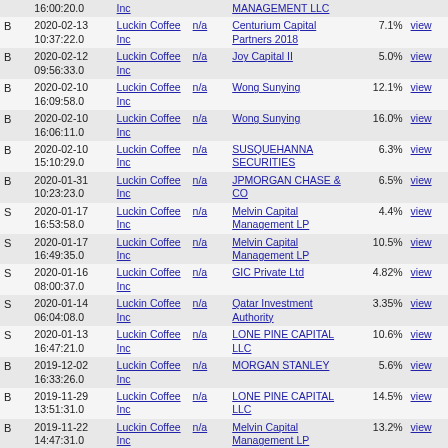| Type | Date/Time | Issuer | Form | Owner | % Owned |  |
| --- | --- | --- | --- | --- | --- | --- |
| B | 2020-02-13 10:37:22.0 | Luckin Coffee Inc | n/a | Centurium Capital Partners 2018 | 7.1% | view |
| B | 2020-02-12 09:56:33.0 | Luckin Coffee Inc | n/a | Joy Capital II | 5.0% | view |
| B | 2020-02-10 16:09:58.0 | Luckin Coffee Inc | n/a | Wong Sunying | 12.1% | view |
| B | 2020-02-10 16:06:11.0 | Luckin Coffee Inc | n/a | Wong Sunying | 16.0% | view |
| B | 2020-02-10 15:10:29.0 | Luckin Coffee Inc | n/a | SUSQUEHANNA SECURITIES | 6.3% | view |
| B | 2020-01-31 10:23:23.0 | Luckin Coffee Inc | n/a | JPMORGAN CHASE & CO | 6.5% | view |
| S | 2020-01-17 16:53:58.0 | Luckin Coffee Inc | n/a | Melvin Capital Management LP | 4.4% | view |
| S | 2020-01-17 16:49:35.0 | Luckin Coffee Inc | n/a | Melvin Capital Management LP | 10.5% | view |
| S | 2020-01-16 08:00:37.0 | Luckin Coffee Inc | n/a | GIC Private Ltd | 4.82% | view |
| S | 2020-01-14 06:04:08.0 | Luckin Coffee Inc | n/a | Qatar Investment Authority | 3.35% | view |
| S | 2020-01-13 16:47:21.0 | Luckin Coffee Inc | n/a | LONE PINE CAPITAL LLC | 10.6% | view |
| B | 2019-12-02 16:33:26.0 | Luckin Coffee Inc | n/a | MORGAN STANLEY | 5.6% | view |
| B | 2019-11-29 13:51:31.0 | Luckin Coffee Inc | n/a | LONE PINE CAPITAL LLC | 14.5% | view |
| B | 2019-11-22 14:47:31.0 | Luckin Coffee Inc | n/a | Melvin Capital Management LP | 13.2% | view |
| B | 2019-08-06 17:16:01.0 | Luckin Coffee Inc | n/a | Point72 Asset Management | 5.1% | view |
| B | 2019-06-14 09:53:41.0 | Luckin Coffee Inc | n/a | Qatar Investment Authority | 8.81% | view |